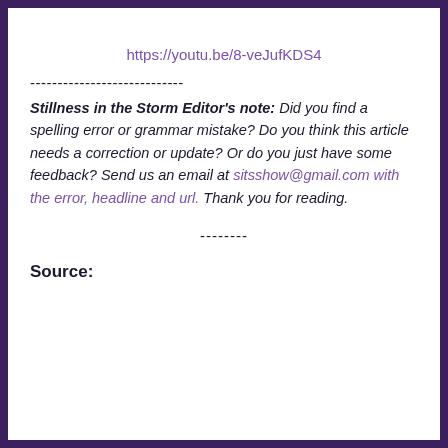https://youtu.be/8-veJufKDS4
----------------------------
Stillness in the Storm Editor's note: Did you find a spelling error or grammar mistake? Do you think this article needs a correction or update? Or do you just have some feedback? Send us an email at sitsshow@gmail.com with the error, headline and url. Thank you for reading.
--------
Source: